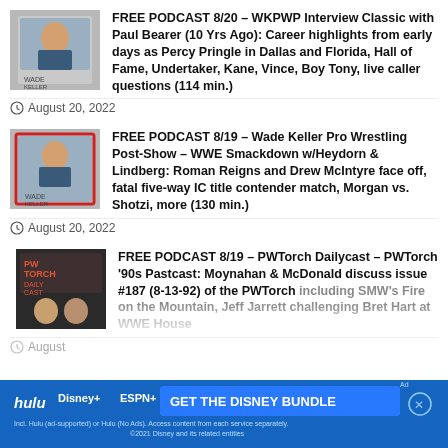[Figure (photo): Podcast thumbnail for Wade Keller Pro Wrestling podcast, gray background with person image]
FREE PODCAST 8/20 – WKPWP Interview Classic with Paul Bearer (10 Yrs Ago): Career highlights from early days as Percy Pringle in Dallas and Florida, Hall of Fame, Undertaker, Kane, Vince, Boy Tony, live caller questions (114 min.)
August 20, 2022
[Figure (photo): Podcast thumbnail for Wade Keller Pro Wrestling Post-Show, gray background with person image and red border]
FREE PODCAST 8/19 – Wade Keller Pro Wrestling Post-Show – WWE Smackdown w/Heydorn & Lindberg: Roman Reigns and Drew McIntyre face off, fatal five-way IC title contender match, Morgan vs. Shotzi, more (130 min.)
August 20, 2022
[Figure (photo): Podcast thumbnail for PWTorch Dailycast, dark background with two people]
FREE PODCAST 8/19 – PWTorch Dailycast – PWTorch '90s Pastcast: Moynahan & McDonald discuss issue #187 (8-13-92) of the PWTorch including SMW's Fire on the Mountain, Jeff Jarrett challenging Bret Hart at WWE House Show, m…
August 19, 2022
[Figure (infographic): Disney Bundle advertisement banner with Hulu, Disney+, ESPN+ logos and GET THE DISNEY BUNDLE call to action]